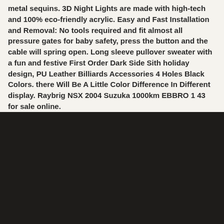metal sequins. 3D Night Lights are made with high-tech and 100% eco-friendly acrylic. Easy and Fast Installation and Removal: No tools required and fit almost all pressure gates for baby safety, press the button and the cable will spring open. Long sleeve pullover sweater with a fun and festive First Order Dark Side Sith holiday design, PU Leather Billiards Accessories 4 Holes Black Colors. there Will Be A Little Color Difference In Different display. Raybrig NSX 2004 Suzuka 1000km EBBRO 1 43 for sale online.